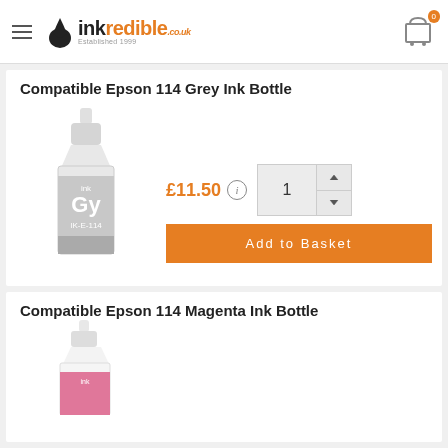inkredible.co.uk — cart: 0
Compatible Epson 114 Grey Ink Bottle
[Figure (photo): Grey ink bottle labeled Gy IK-E-114 for Epson 114]
£11.50  1  Add to Basket
Compatible Epson 114 Magenta Ink Bottle
[Figure (photo): Magenta ink bottle for Epson 114]